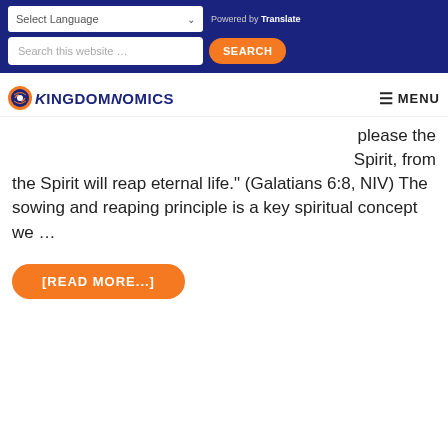Select Language | Powered by Translate | Search this website... SEARCH
[Figure (logo): KingdomNomics logo with circular icon and bold uppercase text]
please the Spirit, from the Spirit will reap eternal life.” (Galatians 6:8, NIV) The sowing and reaping principle is a key spiritual concept we ...
[READ MORE...]